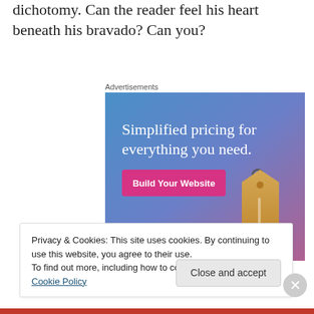dichotomy.  Can the reader feel his heart beneath his bravado?  Can you?
Advertisements
[Figure (illustration): WordPress.com advertisement banner showing 'Simplified pricing for everything you need.' with a 'Build Your Website' button and a price tag graphic on a blue-purple gradient background, with WordPress.com logo at the bottom.]
Privacy & Cookies: This site uses cookies. By continuing to use this website, you agree to their use.
To find out more, including how to control cookies, see here: Cookie Policy
Close and accept